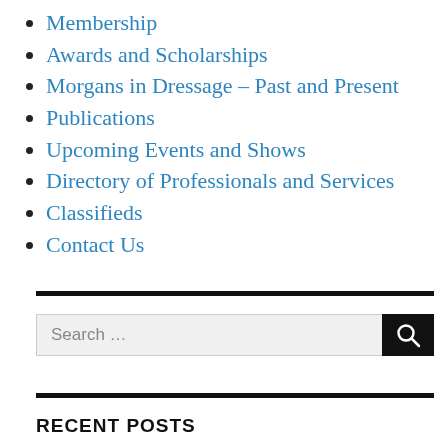Membership
Awards and Scholarships
Morgans in Dressage – Past and Present
Publications
Upcoming Events and Shows
Directory of Professionals and Services
Classifieds
Contact Us
Search …
RECENT POSTS